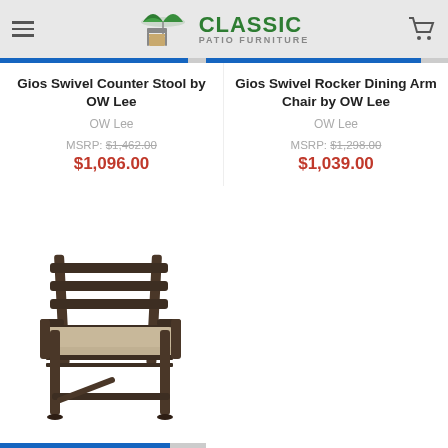Classic Patio Furniture
Gios Swivel Counter Stool by OW Lee
OW Lee
MSRP: $1,462.00
$1,096.00
Gios Swivel Rocker Dining Arm Chair by OW Lee
OW Lee
MSRP: $1,298.00
$1,039.00
[Figure (photo): A patio dining arm chair with dark brown/bronze metal frame and horizontal back slats, featuring a beige/tan cushioned seat, viewed from a slight front-left angle.]